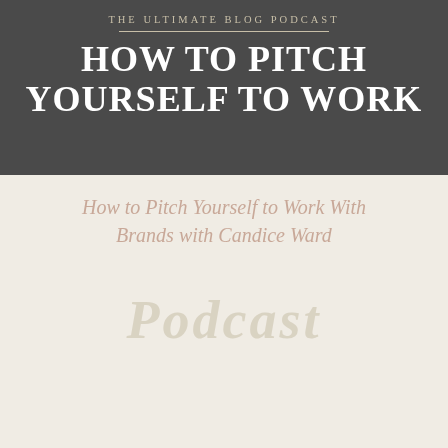THE ULTIMATE BLOG PODCAST
HOW TO PITCH YOURSELF TO WORK
How to Pitch Yourself to Work With Brands with Candice Ward
[Figure (photo): Two women smiling at each other outdoors, with green foliage in the background, inside a gold-bordered frame. The word 'Podcast' appears in large script behind the frame. Two microphones are visible at the bottom.]